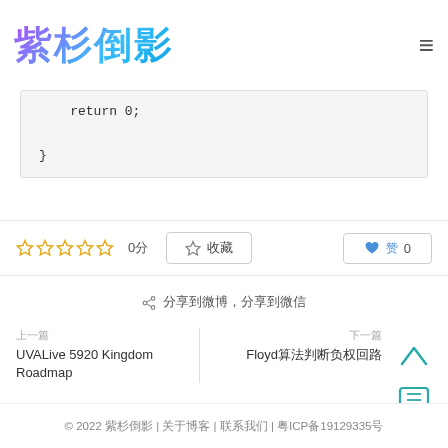紫杉倒影
return 0;
}
☆☆☆☆☆ 0分  ☆ 收藏  ♥ 赞0
分享到微博,分享到微信
上一篇
UVALive 5920 Kingdom Roadmap
Floyd算法判断负权回路
© 2022 紫杉倒影 | 关于博客 | 联系我们 | 粤ICP备19129335号